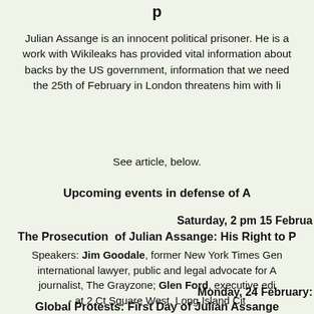p
Julian Assange is an innocent political prisoner. He is a work with Wikileaks has provided vital information about backs by the US government, information that we need the 25th of February in London threatens him with li
See article, below.
Upcoming events in defense of A
Saturday, 2 pm 15 Februa
The Prosecution of Julian Assange: His Right to P
Speakers: Jim Goodale, former New York Times Gen international lawyer, public and legal advocate for A journalist, The Grayzone; Glen Ford, executive edi - at 2 Ct Square West, Long Island Cit
Monday, 24 February:
Global Protests: First Day of Julian Assange
New York City, 11 am, UK Consulate, 3 add of